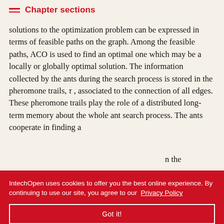Chapter sections
solutions to the optimization problem can be expressed in terms of feasible paths on the graph. Among the feasible paths, ACO is used to find an optimal one which may be a locally or globally optimal solution. The information collected by the ants during the search process is stored in the pheromone trails, τ , associated to the connection of all edges. These pheromone trails play the role of a distributed long-term memory about the whole ant search process. The ants cooperate in finding a [n the [n associated information r run-time [ent from the [ependently,
IntechOpen uses cookies to offer you the best online experience. By continuing to use our site, you agree to our Privacy Policy
Got it!